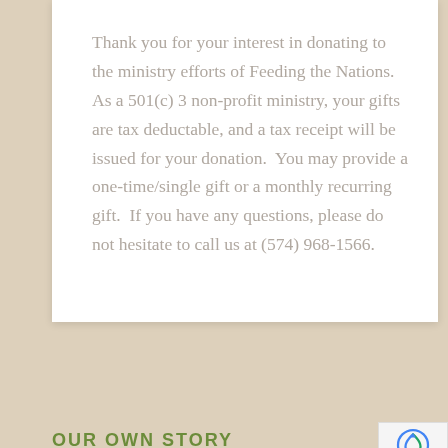Thank you for your interest in donating to the ministry efforts of Feeding the Nations.  As a 501(c) 3 non-profit ministry, your gifts are tax deductable, and a tax receipt will be issued for your donation.  You may provide a one-time/single gift or a monthly recurring gift.  If you have any questions, please do not hesitate to call us at (574) 968-1566.
OUR OWN STORY
nday, December 26, 2004, when an